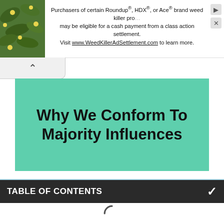[Figure (screenshot): Advertisement banner for WeedKillerAdSettlement.com with a plant/flower image on the left and text about Roundup, HDX, or Ace brand weed killer class action settlement.]
Purchasers of certain Roundup®, HDX®, or Ace® brand weed killer products may be eligible for a cash payment from a class action settlement. Visit www.WeedKillerAdSettlement.com to learn more.
[Figure (screenshot): Browser navigation back button (chevron up/back arrow)]
Why We Conform To Majority Influences
[Figure (infographic): Light blue infographic panel with MINDJOURNAL logo, black banner reading WHY WE CONFORM in pink/salmon text, and list item 1: Evolutionary & adaptive learning mechanism.]
1. Evolutionary & adaptive learning mechanism.
TABLE OF CONTENTS